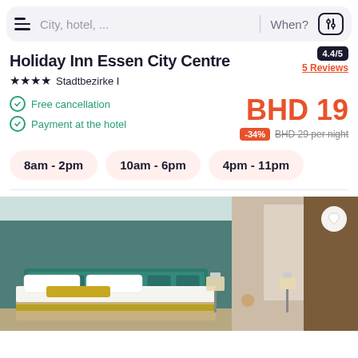[Figure (screenshot): Mobile app search bar with hamburger menu, city/hotel placeholder, When? label, and filter icon]
Holiday Inn Essen City Centre
★★★★ Stadtbezirke I
4.4/5
5 Reviews
Free cancellation
Payment at the hotel
BHD 19
-34%  BHD 29 per night
8am - 2pm
10am - 6pm
4pm - 11pm
[Figure (photo): Hotel bedroom photo showing a double bed with white pillows, yellow accent cushion, teal headboard, sheer curtains, and warm lighting]